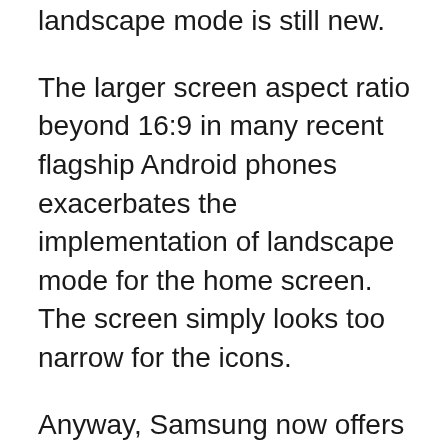landscape mode is still new.
The larger screen aspect ratio beyond 16:9 in many recent flagship Android phones exacerbates the implementation of landscape mode for the home screen. The screen simply looks too narrow for the icons.
Anyway, Samsung now offers the option to use Galaxy S9 home screen landscape mode in Galaxy S9 and S9+.
This means the Galaxy S9 home screen can automatically rotate to landscape mode when you hold the phone in landscape position.